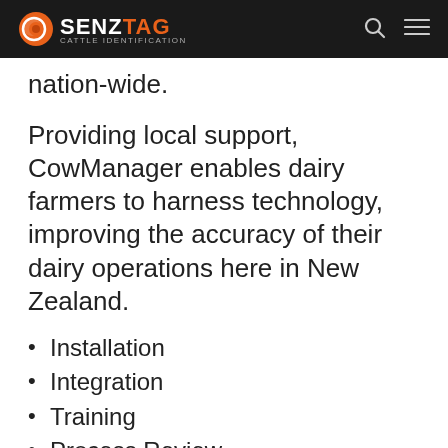SENZTAG
nation-wide.
Providing local support, CowManager enables dairy farmers to harness technology, improving the accuracy of their dairy operations here in New Zealand.
Installation
Integration
Training
Process Review
Local & International Support